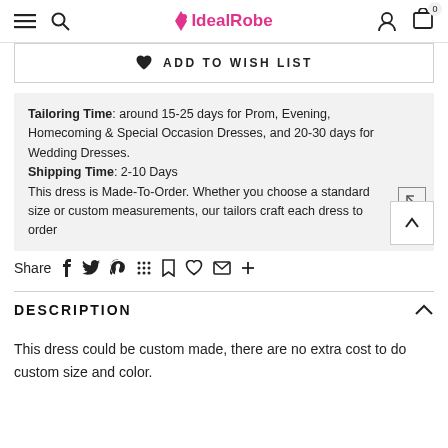IdealRobe — navigation bar with hamburger, search, logo, user, cart (0)
ADD TO WISH LIST
Tailoring Time: around 15-25 days for Prom, Evening, Homecoming & Special Occasion Dresses, and 20-30 days for Wedding Dresses. Shipping Time: 2-10 Days This dress is Made-To-Order. Whether you choose a standard size or custom measurements, our tailors craft each dress to order
Share
DESCRIPTION
This dress could be custom made, there are no extra cost to do custom size and color.